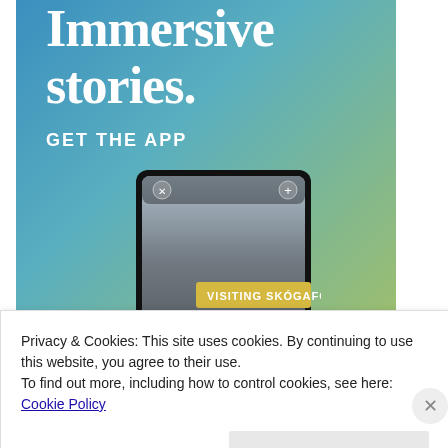[Figure (screenshot): App advertisement banner with gradient blue-green background showing large white serif text 'Immersive stories.' and bold sans-serif text 'GET THE APP', with a phone mockup showing a waterfall image with yellow label 'VISITING SKÓGAFOSS']
Privacy & Cookies: This site uses cookies. By continuing to use this website, you agree to their use.
To find out more, including how to control cookies, see here: Cookie Policy
Close and accept